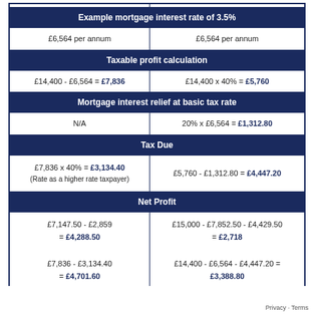| Example mortgage interest rate of 3.5% |  |
| --- | --- |
| £6,564 per annum | £6,564 per annum |
| Taxable profit calculation |  |
| £14,400 - £6,564 = £7,836 | £14,400 x 40% = £5,760 |
| Mortgage interest relief at basic tax rate |  |
| N/A | 20% x £6,564 = £1,312.80 |
| Tax Due |  |
| £7,836 x 40% = £3,134.40
(Rate as a higher rate taxpayer) | £5,760 - £1,312.80 = £4,447.20 |
| Net Profit |  |
| £7,147.50 - £2,859 = £4,288.50
£7,836 - £3,134.40 = £4,701.60 | £15,000 - £7,852.50 - £4,429.50 = £2,718
£14,400 - £6,564 - £4,447.20 = £3,388.80 |